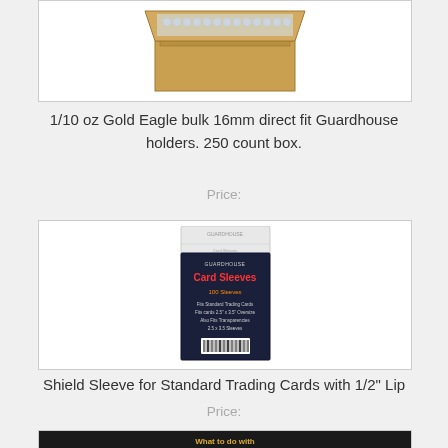[Figure (photo): Partial image of a cardboard box (cut off at top) presumably containing coin holders, shown from above with some bubble wrap visible.]
1/10 oz Gold Eagle bulk 16mm direct fit Guardhouse holders. 250 count box.
Price:
[Figure (photo): Product image of Shield Sleeve card sleeves package — dark navy package with red text 'Card Sleeves' and orange subtitle, with barcode at bottom.]
Shield Sleeve for Standard Trading Cards with 1/2" Lip
Price:
[Figure (photo): Partial image at bottom of page showing a dark banner with gold text 'What to do with' — appears to be another product listing cut off.]